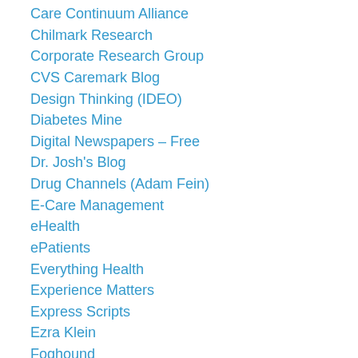Care Continuum Alliance
Chilmark Research
Corporate Research Group
CVS Caremark Blog
Design Thinking (IDEO)
Diabetes Mine
Digital Newspapers – Free
Dr. Josh's Blog
Drug Channels (Adam Fein)
E-Care Management
eHealth
ePatients
Everything Health
Experience Matters
Express Scripts
Ezra Klein
Foghound
Forrester's Marketing Blog
Freakonomics Blog
gladwell.com